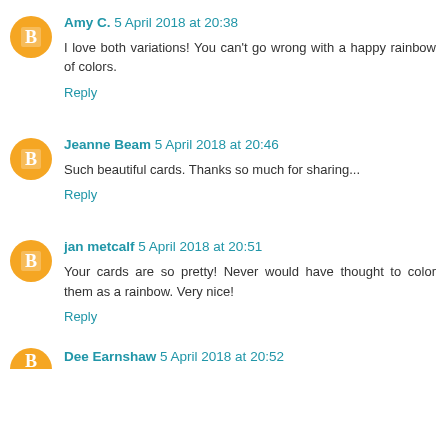Amy C. 5 April 2018 at 20:38
I love both variations! You can't go wrong with a happy rainbow of colors.
Reply
Jeanne Beam 5 April 2018 at 20:46
Such beautiful cards. Thanks so much for sharing...
Reply
jan metcalf 5 April 2018 at 20:51
Your cards are so pretty! Never would have thought to color them as a rainbow. Very nice!
Reply
Dee Earnshaw 5 April 2018 at 20:52